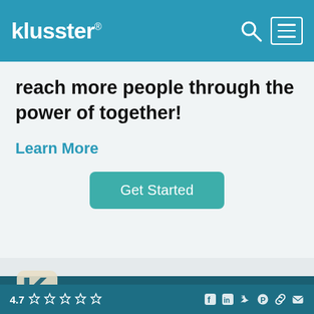klusster®
reach more people through the power of together!
Learn More
Get Started
[Figure (logo): Klusster K logo in white on dark teal background]
4.7 ☆☆☆☆☆ [social icons: Facebook, LinkedIn, Twitter, Pinterest, Link, Email]